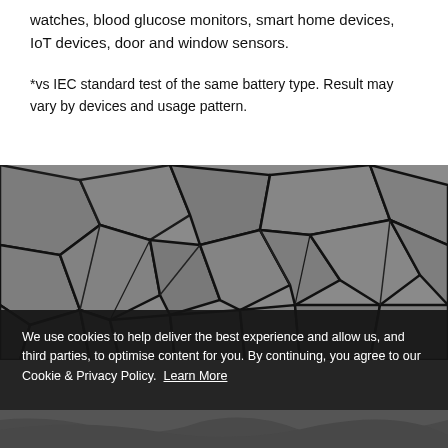watches, blood glucose monitors, smart home devices, IoT devices, door and window sensors.
*vs IEC standard test of the same battery type. Result may vary by devices and usage pattern.
[Figure (photo): Black and white aerial photograph of cracked dry earth/mud with polygon crack patterns]
We use cookies to help deliver the best experience and allow us, and third parties, to optimise content for you. By continuing, you agree to our Cookie & Privacy Policy. Learn More
Accept